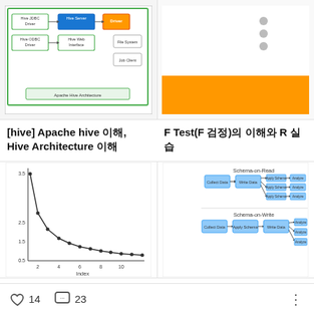[Figure (schematic): Apache Hive Architecture diagram showing Hive JDBC Driver, Hive ODBC Driver, Hive Server, Hive Web Interface, Driver, File System, and Job Client components]
[Figure (other): Thumbnail with gray dots/circles on white/orange background for F Test article]
[hive] Apache hive 이해, Hive Architecture 이해
F Test(F 검정)의 이해와 R 실습
[Figure (continuous-plot): Line chart showing decreasing curve, y-axis from ~0.5 to 3.5, x-axis labeled 'Index' from 1 to 11]
[Figure (flowchart): Schema-on-Read vs Schema-on-Write diagram: top shows Collect Data -> Write Data -> Apply Schema (x3) -> Analyze (x3); bottom shows Collect Data -> Apply Schema -> Write Data -> Analyze (x3)]
R을 활용한 요인 분석(인자분석, Factor Analysis) 정리 :: Dat…
[hive] Schema on Read의 이해
♡ 14   💬 23   ⋮